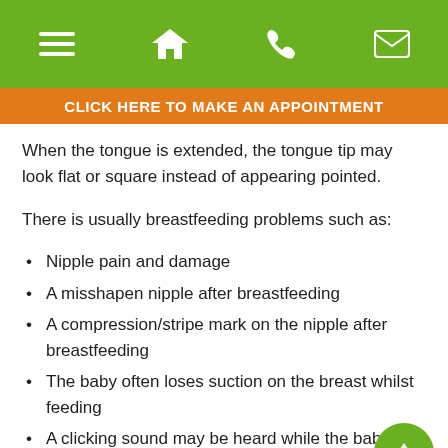[Figure (screenshot): Green navigation bar with hamburger menu, home, phone, and email icons in white]
CLICK HERE TO MAKE AN APPOINTMENT
When the tongue is extended, the tongue tip may look flat or square instead of appearing pointed.
There is usually breastfeeding problems such as:
Nipple pain and damage
A misshapen nipple after breastfeeding
A compression/stripe mark on the nipple after breastfeeding
The baby often loses suction on the breast whilst feeding
A clicking sound may be heard while the baby is feeding